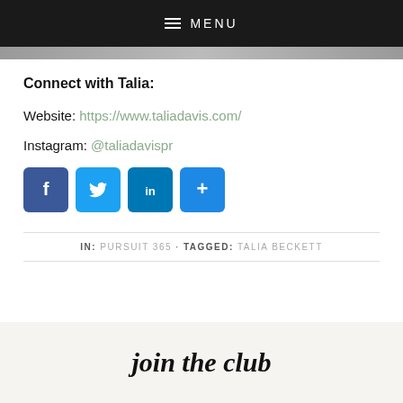MENU
Connect with Talia:
Website: https://www.taliadavis.com/
Instagram: @taliadavispr
[Figure (other): Social media share buttons: Facebook, Twitter, LinkedIn, Share (+)]
IN: PURSUIT 365 · TAGGED: TALIA BECKETT
join the club